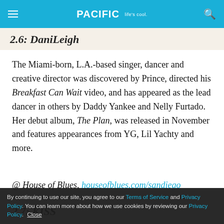PACIFIC Life's cool
2.6: DaniLeigh
The Miami-born, L.A.-based singer, dancer and creative director was discovered by Prince, directed his Breakfast Can Wait video, and has appeared as the lead dancer in others by Daddy Yankee and Nelly Furtado. Her debut album, The Plan, was released in November and features appearances from YG, Lil Yachty and more.
@ House of Blues, houseofblues.com/sandiego
By continuing to use our site, you agree to our Terms of Service and Privacy Policy. You can learn more about how we use cookies by reviewing our Privacy Policy. Close
2.7: KISS